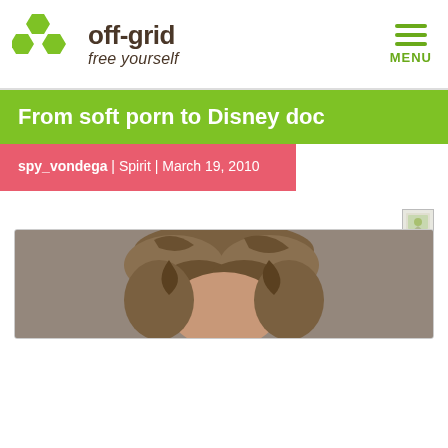off-grid free yourself
From soft porn to Disney doc
spy_vondega | Spirit | March 19, 2010
[Figure (photo): Screenshot of off-grid.net website showing article header. Logo with green hexagons and 'off-grid free yourself' text, green menu icon labeled MENU, green title bar reading 'From soft porn to Disney doc', pink/red metadata bar showing 'spy_vondega | Spirit | March 19, 2010', social share widget icons with count 0, and partial photo of a person with curly brown hair at bottom.]